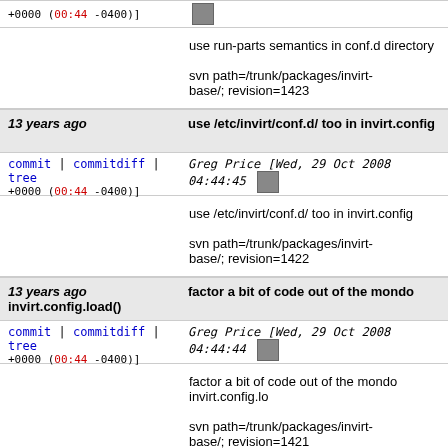+0000 (00:44 -0400)]
use run-parts semantics in conf.d directory

svn path=/trunk/packages/invirt-base/; revision=1423
13 years ago | use /etc/invirt/conf.d/ too in invirt.config
commit | commitdiff | tree
Greg Price [Wed, 29 Oct 2008 04:44:45 +0000 (00:44 -0400)]
use /etc/invirt/conf.d/ too in invirt.config

svn path=/trunk/packages/invirt-base/; revision=1422
13 years ago | factor a bit of code out of the mondo invirt.config.load()
commit | commitdiff | tree
Greg Price [Wed, 29 Oct 2008 04:44:44 +0000 (00:44 -0400)]
factor a bit of code out of the mondo invirt.config.lo

svn path=/trunk/packages/invirt-base/; revision=1421